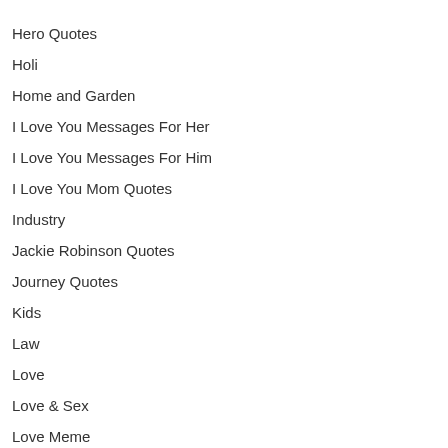Hero Quotes
Holi
Home and Garden
I Love You Messages For Her
I Love You Messages For Him
I Love You Mom Quotes
Industry
Jackie Robinson Quotes
Journey Quotes
Kids
Law
Love
Love & Sex
Love Meme
Mother's Day